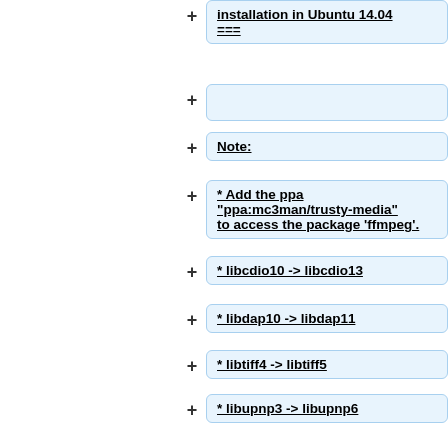installation in Ubuntu 14.04 ===
Note:
* Add the ppa "ppa:mc3man/trusty-media" to access the package 'ffmpeg'.
* libcdio10 -> libcdio13
* libdap10 -> libdap11
* libtiff4 -> libtiff5
* libupnp3 -> libupnp6
* added liblua5.2-dev
* added libswscale-dev